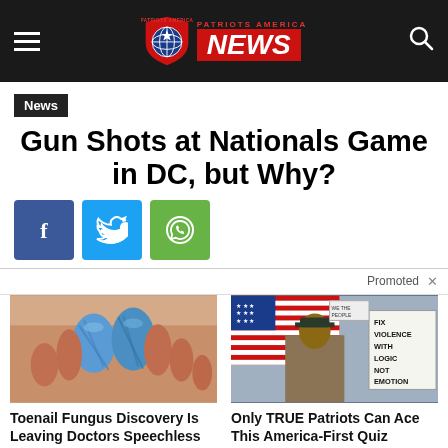Patriots America NEWS
News
Gun Shots at Nationals Game in DC, but Why?
[Figure (other): Social share buttons: Facebook (f), Twitter (bird icon), WhatsApp (phone icon)]
Promoted
[Figure (photo): Close-up photo of human toes wrapped in blue yarn/bandage]
Toenail Fungus Discovery Is Leaving Doctors Speechless (Try This Tonight)
🔥 3,081
[Figure (photo): Man holding protest sign reading FIX VIOLENCE WITH LOGIC NOT EMOTION, American flag in background, WE THE PEOPLE sign visible]
Only TRUE Patriots Can Ace This America-First Quiz
🔥 442